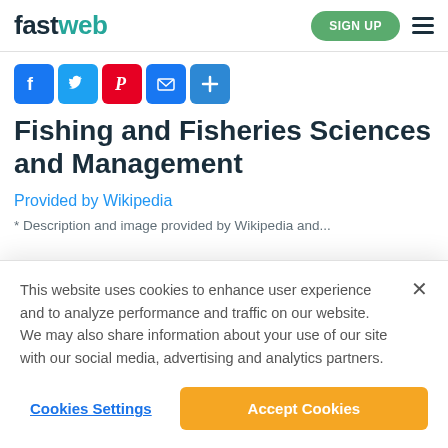fastweb  SIGN UP
[Figure (infographic): Row of social sharing icons: Facebook (blue), Twitter (light blue), Pinterest (red), Email (blue), Share/Plus (blue)]
Fishing and Fisheries Sciences and Management
Provided by Wikipedia
* Description and image provided by Wikipedia and...
This website uses cookies to enhance user experience and to analyze performance and traffic on our website. We may also share information about your use of our site with our social media, advertising and analytics partners.
Cookies Settings    Accept Cookies